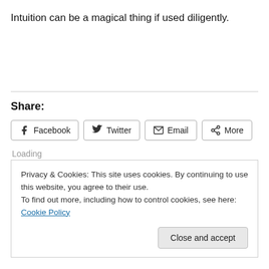Intuition can be a magical thing if used diligently.
Share:
Facebook  Twitter  Email  More
Loading
Privacy & Cookies: This site uses cookies. By continuing to use this website, you agree to their use.
To find out more, including how to control cookies, see here: Cookie Policy
Close and accept